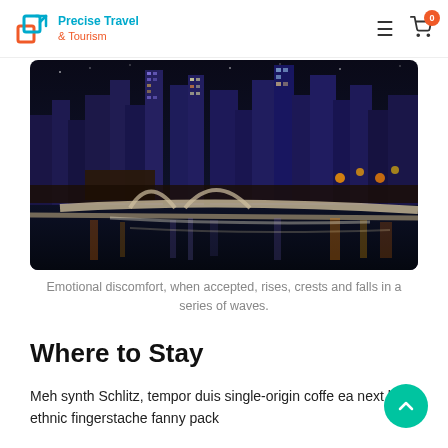Precise Travel & Tourism — navigation header with logo, hamburger menu, and cart icon (0 items)
[Figure (photo): Night skyline of Singapore with illuminated skyscrapers, waterfront bridge, and reflections on the water]
Emotional discomfort, when accepted, rises, crests and falls in a series of waves.
Where to Stay
Meh synth Schlitz, tempor duis single-origin coffee ea next level ethnic fingerstache fanny pack